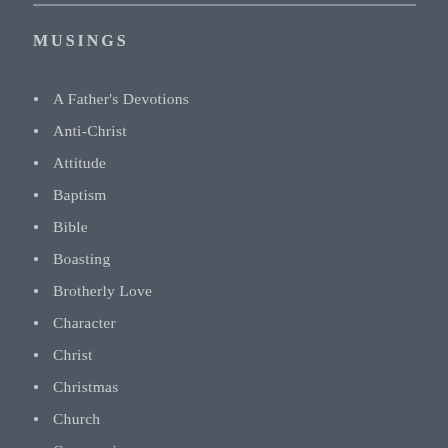MUSINGS
A Father's Devotions
Anti-Christ
Attitude
Baptism
Bible
Boasting
Brotherly Love
Character
Christ
Christmas
Church
Communion
Compassion